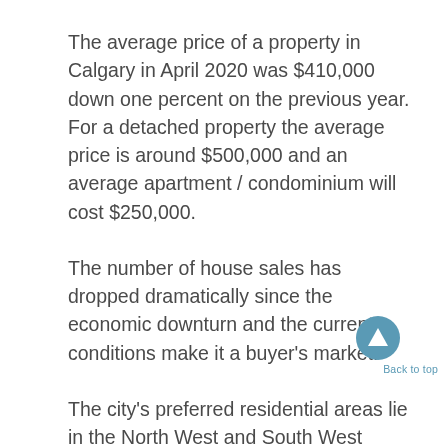The average price of a property in Calgary in April 2020 was $410,000 down one percent on the previous year. For a detached property the average price is around $500,000 and an average apartment / condominium will cost $250,000.
The number of house sales has dropped dramatically since the economic downturn and the current conditions make it a buyer's market.
The city's preferred residential areas lie in the North West and South West suburbs. These are closest to the Rockies with attractive mountain views.
The North East, where the airport is situated, and some rather industrial parts of the South East are